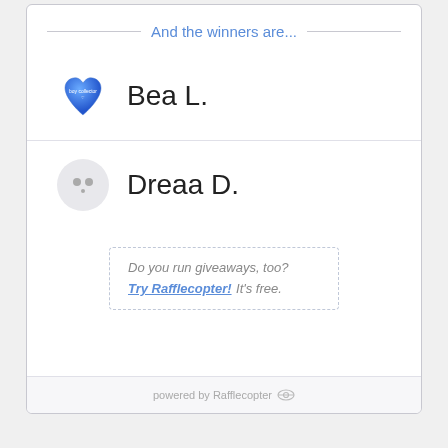And the winners are...
Bea L.
Dreaa D.
Do you run giveaways, too? Try Rafflecopter! It's free.
powered by Rafflecopter